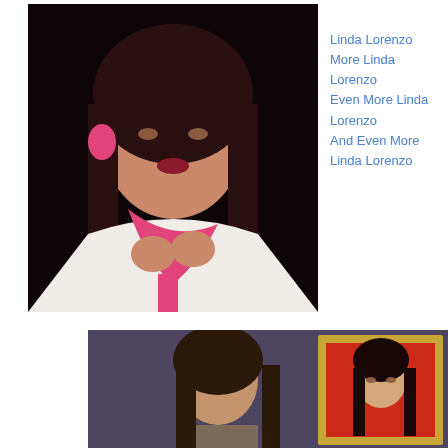[Figure (photo): Portrait photo of a woman with dark curly hair wearing a white top and pink scarf/ribbon, with pink earrings, against a dark background]
Linda Lorenzo
More Linda Lorenzo
Even More Linda Lorenzo
And Even More Linda Lorenzo
[Figure (photo): Photo of a woman with long dark hair sitting in front of a framed painting of a woman with long black hair on a red background, against a gray-blue wall]